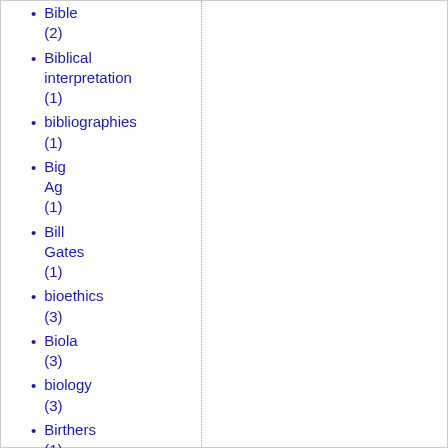Bible (2)
Biblical interpretation (1)
bibliographies (1)
Big Ag (1)
Bill Gates (1)
bioethics (3)
Biola (3)
biology (3)
Birthers (1)
Birthright citizenship (1)
Bishop